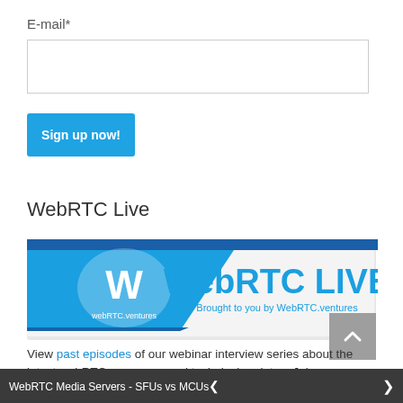E-mail*
[Figure (screenshot): Empty email input text field with light gray border]
[Figure (screenshot): Blue 'Sign up now!' button]
WebRTC Live
[Figure (logo): WebRTC LIVE banner with blue diagonal design, 'W' logo mark, text 'WebRTC LIVE' and 'Brought to you by WebRTC.ventures']
View past episodes of our webinar interview series about the latest webRTC use cases and technical updates. Join our mailing list to learn
WebRTC Media Servers - SFUs vs MCUs<   >